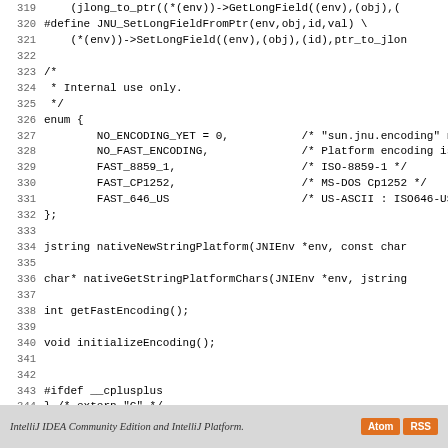Code listing lines 319-347: C/C++ header file with JNI utility macros and encoding definitions
IntelliJ IDEA Community Edition and IntelliJ Platform.  [Atom] [RSS]